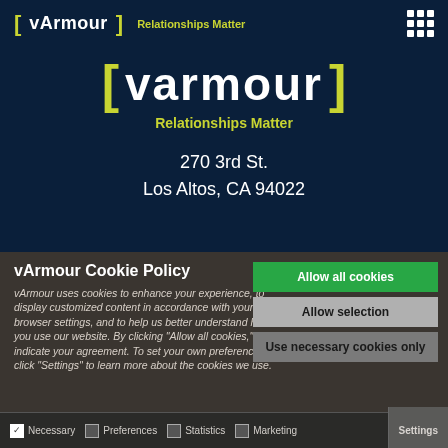[Figure (logo): vArmour logo with green brackets and 'Relationships Matter' tagline in navigation bar]
[Figure (logo): Large vArmour logo centered with green brackets, white text, and 'Relationships Matter' tagline below]
270 3rd St.
Los Altos, CA 94022
vArmour Cookie Policy
vArmour uses cookies to enhance your experience, to display customized content in accordance with your browser settings, and to help us better understand how you use our website. By clicking "Allow all cookies," you indicate your agreement. To set your own preferences, click "Settings" to learn more about the cookies we use.